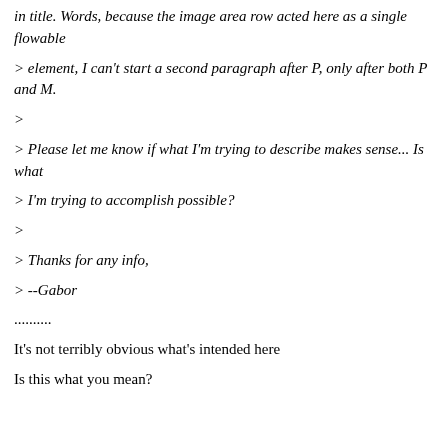in title. Words, because the image area flowable
> element, I can't start a second paragraph after P, only after both P and M.
>
> Please let me know if what I'm trying to describe makes sense... Is what
> I'm trying to accomplish possible?
>
> Thanks for any info,
> --Gabor
..........
It's not terribly obvious what's intended here
Is this what you mean?